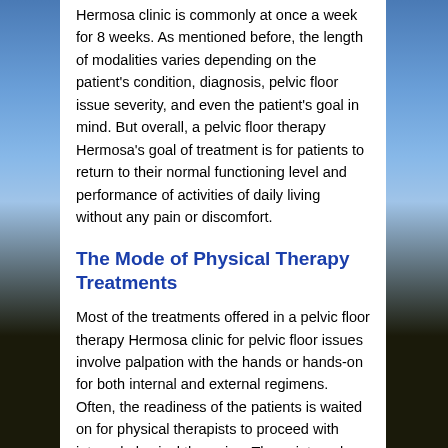Hermosa clinic is commonly at once a week for 8 weeks. As mentioned before, the length of modalities varies depending on the patient's condition, diagnosis, pelvic floor issue severity, and even the patient's goal in mind. But overall, a pelvic floor therapy Hermosa's goal of treatment is for patients to return to their normal functioning level and performance of activities of daily living without any pain or discomfort.
The Mode of Physical Therapy Treatments
Most of the treatments offered in a pelvic floor therapy Hermosa clinic for pelvic floor issues involve palpation with the hands or hands-on for both internal and external regimens. Often, the readiness of the patients is waited on for physical therapists to proceed with internal physical therapies. These internal exam techniques for trigger point therapies use some kind of specialized